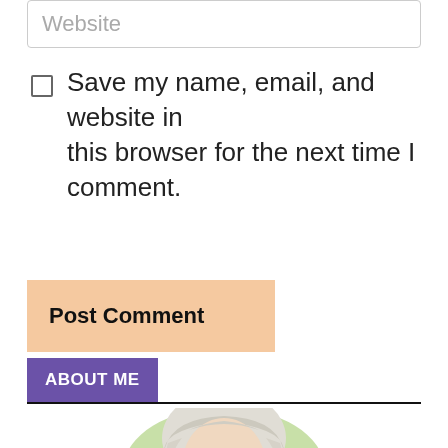Website
Save my name, email, and website in this browser for the next time I comment.
Post Comment
ABOUT ME
[Figure (photo): Circular portrait photo of a person with light/blonde hair, partially visible at the bottom of the page, set against a green background.]